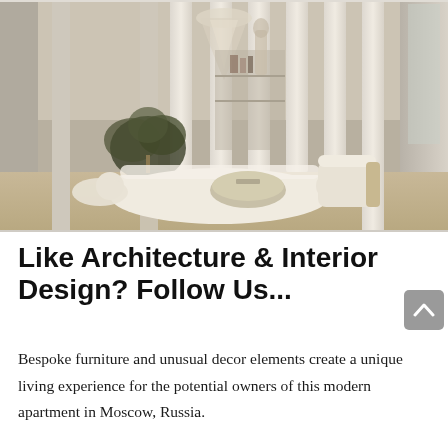[Figure (photo): Interior design photo of a modern apartment in Moscow, Russia. A bright, minimalist living space with curved cream/white sofa, round coffee table, potted olive tree, tall architectural columns, pendant light sculpture, and a side accent chair. Warm neutral tones throughout with light wood flooring.]
Like Architecture & Interior Design? Follow Us...
Bespoke furniture and unusual decor elements create a unique living experience for the potential owners of this modern apartment in Moscow, Russia.